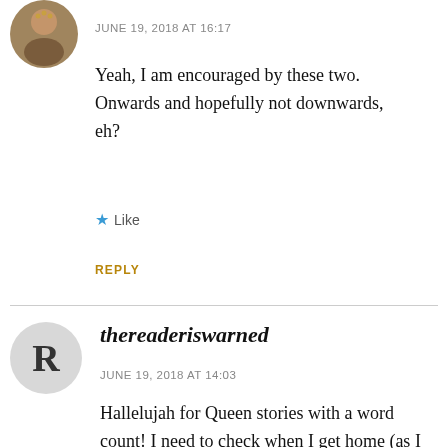[Figure (photo): Circular avatar image of a person with beaded necklace]
JUNE 19, 2018 AT 16:17
Yeah, I am encouraged by these two. Onwards and hopefully not downwards, eh?
Like
REPLY
thereaderiswarned
JUNE 19, 2018 AT 14:03
Hallelujah for Queen stories with a word count! I need to check when I get home (as I